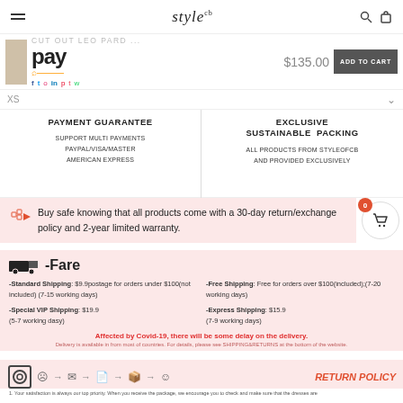stylecb
[Figure (screenshot): Product bar with Amazon Pay logo, product thumbnail, social icons, price $135.00, and ADD TO CART button]
XS
PAYMENT GUARANTEE
EXCLUSIVE SUSTAINABLE PACKING
SUPPORT MULTI PAYMENTS PAYPAL/VISA/MASTER AMERICAN EXPRESS
ALL PRODUCTS FROM STYLEOFCB AND PROVIDED EXCLUSIVELY
Buy safe knowing that all products come with a 30-day return/exchange policy and 2-year limited warranty.
-Fare
-Standard Shipping: $9.9 postage for orders under $100(not included) (7-15 working days)
-Free Shipping: Free for orders over $100(included);(7-20 working days)
-Special VIP Shipping: $19.9 (5-7 working days)
-Express Shipping: $15.9 (7-9 working days)
Affected by Covid-19, there will be some delay on the delivery.
Delivery is available in from most of countries. For details, please see SHIPPING&RETURNS at the bottom of the website.
[Figure (infographic): Return policy flow: camera icon → sad face → arrow → envelope → arrow → document → arrow → package → arrow → happy face]
RETURN POLICY
1. Your satisfaction is always our top priority. When you receive the package, we encourage you to check and make sure that the dresses are